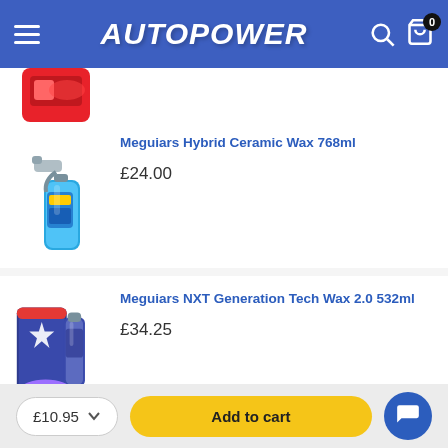AUTOPOWER
[Figure (photo): Partial view of a red car care product at the top of the product listing]
Meguiars Hybrid Ceramic Wax 768ml
£24.00
[Figure (photo): Meguiars Hybrid Ceramic Wax 768ml blue spray bottle product image]
Meguiars NXT Generation Tech Wax 2.0 532ml
£34.25
[Figure (photo): Meguiars NXT Generation Tech Wax 2.0 532ml product kit image]
£10.95
Add to cart